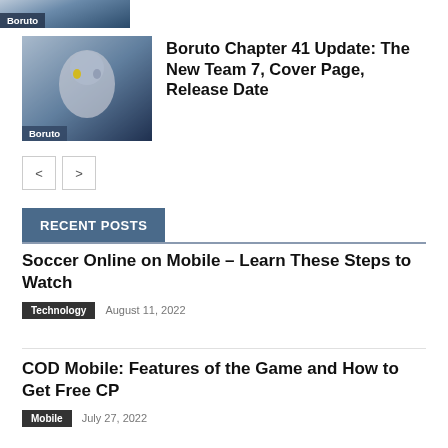[Figure (photo): Boruto anime character image thumbnail with 'Boruto' label at bottom left]
[Figure (photo): Boruto Chapter 41 anime character thumbnail with 'Boruto' label]
Boruto Chapter 41 Update: The New Team 7, Cover Page, Release Date
< >
RECENT POSTS
Soccer Online on Mobile – Learn These Steps to Watch
Technology   August 11, 2022
COD Mobile: Features of the Game and How to Get Free CP
Mobile   July 27, 2022